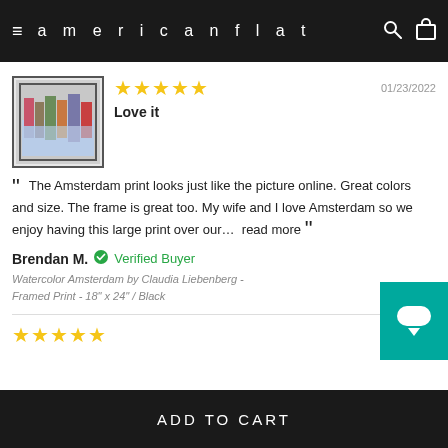americanflat
[Figure (screenshot): Product thumbnail image of watercolor Amsterdam framed print showing colorful canal houses]
★★★★★  01/23/2022
Love it
The Amsterdam print looks just like the picture online. Great colors and size. The frame is great too. My wife and I love Amsterdam so we enjoy having this large print over our...  read more
Brendan M.  ✔ Verified Buyer
Watercolor Amsterdam by Claudia Liebenberg - Framed Print - 18" x 24" / Black
★★★★★
ADD TO CART